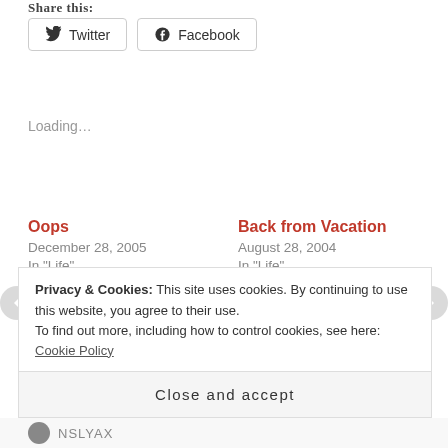Share this:
Twitter  Facebook
Loading…
Oops
December 28, 2005
In "Life"
Back from Vacation
August 28, 2004
In "Life"
Not Dead Yet
April 30, 2011
Privacy & Cookies: This site uses cookies. By continuing to use this website, you agree to their use.
To find out more, including how to control cookies, see here: Cookie Policy
Close and accept
NSLYAX